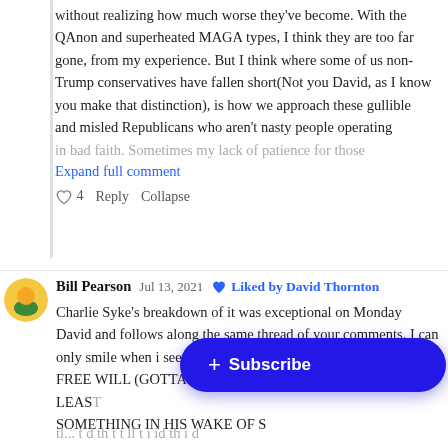without realizing how much worse they've become. With the QAnon and superheated MAGA types, I think they are too far gone, from my experience. But I think where some of us non-Trump conservatives have fallen short(Not you David, as I know you make that distinction), is how we approach these gullible and misled Republicans who aren't nasty people operating in bad faith. Sometimes my lack of patience for those
Expand full comment
♡ 4   Reply   Collapse
Bill Pearson   Jul 13, 2021   ♥ Liked by David Thornton
Charlie Syke's breakdown of it was exceptional on Monday David and follows along the same thread of your comments. I can only smile when i see LP saying he was there and all he saw was FREE WILL (GOTTA LOVE THOSE CAPS...AT LEAST SOMETHING IN HIS WAKE OF S